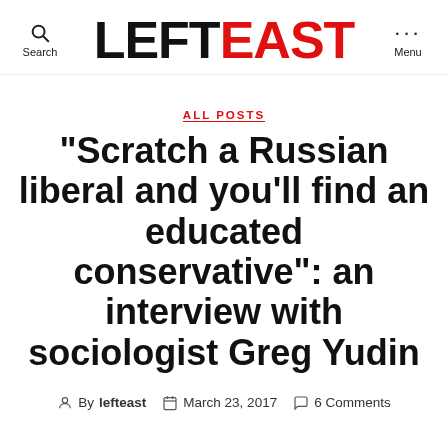LeftEast — Search / Menu header
ALL POSTS
“Scratch a Russian liberal and you’ll find an educated conservative”: an interview with sociologist Greg Yudin
By lefteast   March 23, 2017   6 Comments